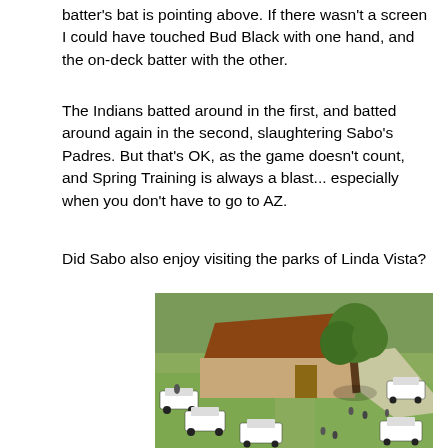batter's bat is pointing above. If there wasn't a screen I could have touched Bud Black with one hand, and the on-deck batter with the other.
The Indians batted around in the first, and batted around again in the second, slaughtering Sabo's Padres. But that's OK, as the game doesn't count, and Spring Training is always a blast... especially when you don't have to go to AZ.
Did Sabo also enjoy visiting the parks of Linda Vista?
[Figure (photo): Aerial photograph of a park in Linda Vista showing police cars surrounding a building with a red/brown roof, a large tree, pathways, and green grass. Multiple police vehicles and figures are visible on the grounds.]